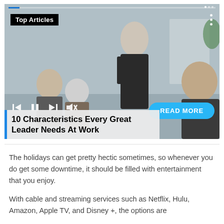[Figure (screenshot): Video media card showing a business meeting scene. A woman in a black suit stands at a whiteboard presenting to seated colleagues. Overlaid UI elements include: a progress bar at top, a 'Top Articles' badge, a three-dot menu icon, media playback controls (previous, pause, next, mute), a cyan 'READ MORE' pill button, and a title overlay with a blue left border.]
10 Characteristics Every Great Leader Needs At Work
The holidays can get pretty hectic sometimes, so whenever you do get some downtime, it should be filled with entertainment that you enjoy.
With cable and streaming services such as Netflix, Hulu, Amazon, Apple TV, and Disney +, the options are